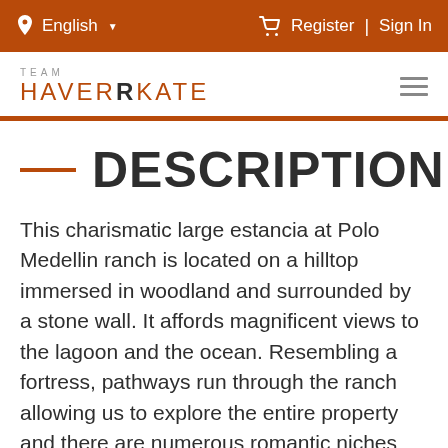English | Register | Sign In
TEAM HAVERKATE
DESCRIPTION
This charismatic large estancia at Polo Medellin ranch is located on a hilltop immersed in woodland and surrounded by a stone wall. It affords magnificent views to the lagoon and the ocean. Resembling a fortress, pathways run through the ranch allowing us to explore the entire property and there are numerous romantic niches and secret